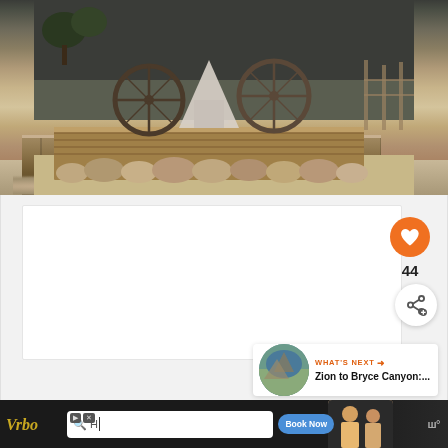[Figure (photo): Outdoor desert scene showing a wooden platform with bicycle wheels and a tent-like structure, surrounded by rocks and sandy gravel ground]
[Figure (infographic): UI overlay with orange heart/like button, count of 44, share button, and a 'WHAT'S NEXT' card showing 'Zion to Bryce Canyon:...' with a thumbnail]
[Figure (screenshot): Advertisement banner at bottom showing Vrbo logo, search bar with 'H' typed, Book Now button, and a person image on dark background]